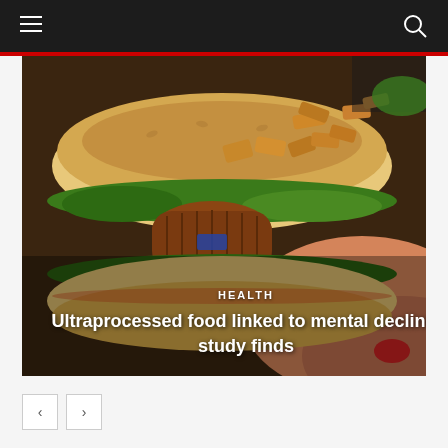[Figure (photo): Close-up photo of a hand with red nail polish holding a sandwich/hot dog bun filled with a grilled sausage/patty, greens, and fried potato pieces]
HEALTH
Ultraprocessed food linked to mental decline, study finds